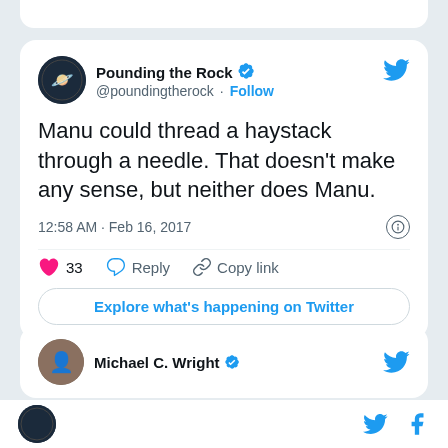[Figure (screenshot): Tweet card from @poundingtherock (Pounding the Rock, verified). Tweet text: 'Manu could thread a haystack through a needle. That doesn't make any sense, but neither does Manu.' Timestamp: 12:58 AM · Feb 16, 2017. 33 likes. Actions: Reply, Copy link. Explore button. Partial second tweet card from Michael C. Wright (verified). Bottom bar with logo, Twitter bird icon, and Facebook 'f' icon.]